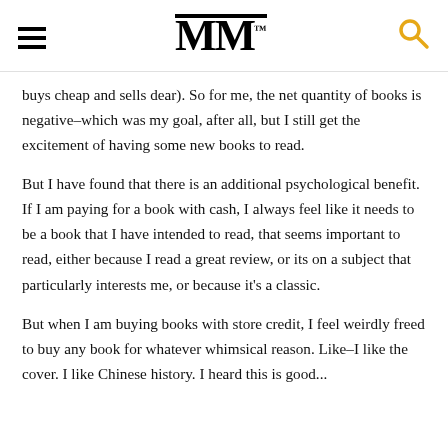MM™
buys cheap and sells dear). So for me, the net quantity of books is negative–which was my goal, after all, but I still get the excitement of having some new books to read.
But I have found that there is an additional psychological benefit. If I am paying for a book with cash, I always feel like it needs to be a book that I have intended to read, that seems important to read, either because I read a great review, or its on a subject that particularly interests me, or because it's a classic.
But when I am buying books with store credit, I feel weirdly freed to buy any book for whatever whimsical reason. Like–I like the cover. I like Chinese history. I heard this is good...